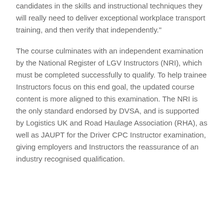candidates in the skills and instructional techniques they will really need to deliver exceptional workplace transport training, and then verify that independently."
The course culminates with an independent examination by the National Register of LGV Instructors (NRI), which must be completed successfully to qualify. To help trainee Instructors focus on this end goal, the updated course content is more aligned to this examination. The NRI is the only standard endorsed by DVSA, and is supported by Logistics UK and Road Haulage Association (RHA), as well as JAUPT for the Driver CPC Instructor examination, giving employers and Instructors the reassurance of an industry recognised qualification.